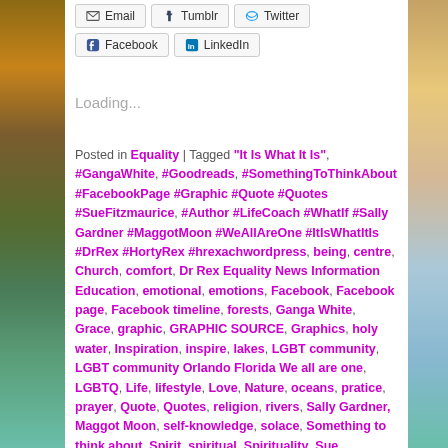[Figure (screenshot): Social share buttons: Email, Tumblr, Twitter, Facebook, LinkedIn]
Loading...
Posted in Equality | Tagged "It Is What It Is", #GangaWhite, #Goodreads, #SomethingToThinkAbout #FacebookPage #Graphic #Quote #Quotes #SueFitzmaurice, #Author #LifeCoach #WhatIf #Sally Gardner #MaggotMoon #WeAllAreOne #ItIsWhatItIs #DrRex #HortyRex #hrexachwordpress, being, centre, Church, comfort, Dr Rex Equality News Information Education, emotional, emotions, Facebook, Facebook page, Facebook timeline, forests, Ganga White, Grace, graphic, GRAPHIC SOURCE, Graphics, holy water, Inspiration, inspire, lakes, LGBT community, LGBT community Orlando Florida We all are one, LGBTQ, Life, lifestyle, Love, Nature, oceans, pratice, prayer, Quote, Quotes, religion, rivers, Sally Gardner, Maggot Moon, self-knowledge, solace, Something to think about, Spirit, spiritual, Spirituality, Sue Fitzmaurice, Author & Coach, teacher, Think, thoughts, We ALL are ONE, We Are All Connected, we are all one, We are ONE, We are the Voice of the Voiceless, what if, wisdom, words,